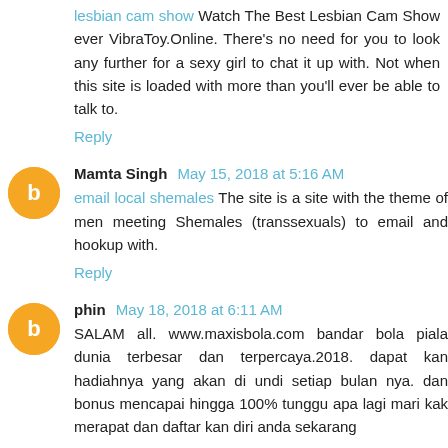lesbian cam show Watch The Best Lesbian Cam Show ever VibraToy.Online. There's no need for you to look any further for a sexy girl to chat it up with. Not when this site is loaded with more than you'll ever be able to talk to.
Reply
Mamta Singh May 15, 2018 at 5:16 AM
email local shemales The site is a site with the theme of men meeting Shemales (transsexuals) to email and hookup with.
Reply
phin May 18, 2018 at 6:11 AM
SALAM all. www.maxisbola.com bandar bola piala dunia terbesar dan terpercaya.2018. dapat kan hadiahnya yang akan di undi setiap bulan nya. dan bonus mencapai hingga 100% tunggu apa lagi mari kak merapat dan daftar kan diri anda sekarang